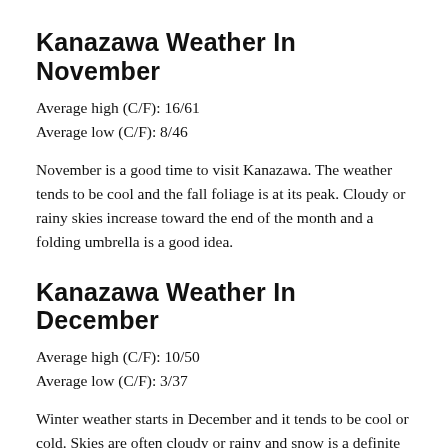Kanazawa Weather In November
Average high (C/F): 16/61
Average low (C/F): 8/46
November is a good time to visit Kanazawa. The weather tends to be cool and the fall foliage is at its peak. Cloudy or rainy skies increase toward the end of the month and a folding umbrella is a good idea.
Kanazawa Weather In December
Average high (C/F): 10/50
Average low (C/F): 3/37
Winter weather starts in December and it tends to be cool or cold. Skies are often cloudy or rainy and snow is a definite possibility, though it doesn't usually